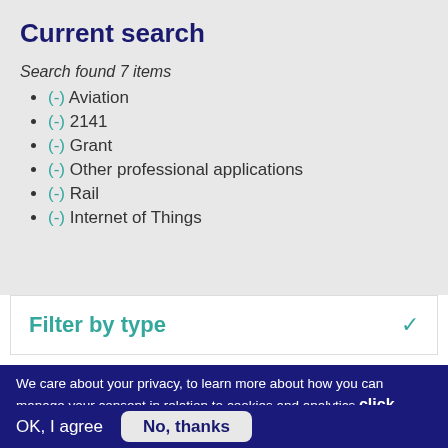Current search
Search found 7 items
(-) Aviation
(-) 2141
(-) Grant
(-) Other professional applications
(-) Rail
(-) Internet of Things
Filter by type
We care about your privacy, to learn more about how you can manage your consent in relation to cookies and analytics click here
OK, I agree
No, thanks